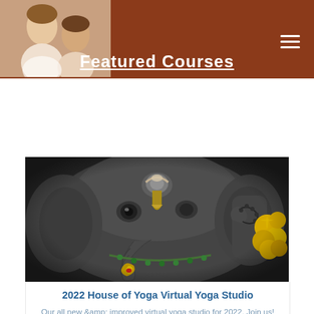Featured Courses
[Figure (photo): Close-up photograph of a Ganesha statue made of dark grey stone, decorated with gold ornaments and yellow flowers]
2022 House of Yoga Virtual Yoga Studio
Our all new &amp; improved virtual yoga studio for 2022. Join us! This is real yoga for real people